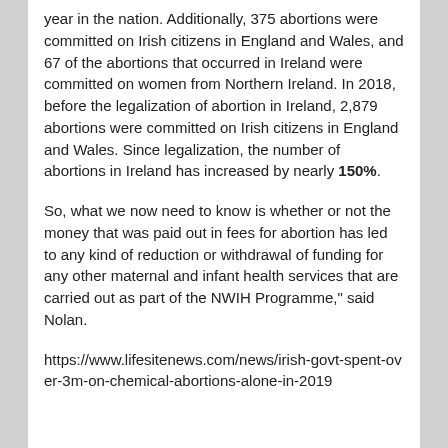year in the nation. Additionally, 375 abortions were committed on Irish citizens in England and Wales, and 67 of the abortions that occurred in Ireland were committed on women from Northern Ireland. In 2018, before the legalization of abortion in Ireland, 2,879 abortions were committed on Irish citizens in England and Wales. Since legalization, the number of abortions in Ireland has increased by nearly 150%.
So, what we now need to know is whether or not the money that was paid out in fees for abortion has led to any kind of reduction or withdrawal of funding for any other maternal and infant health services that are carried out as part of the NWIH Programme," said Nolan.
https://www.lifesitenews.com/news/irish-govt-spent-over-3m-on-chemical-abortions-alone-in-2019